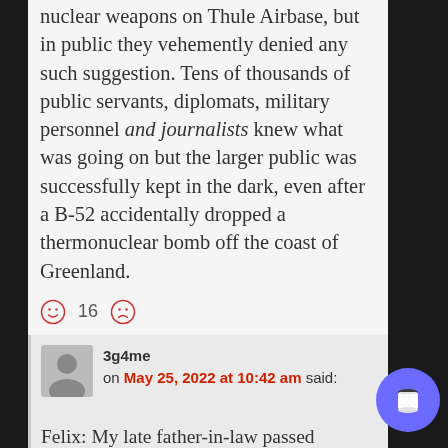nuclear weapons on Thule Airbase, but in public they vehemently denied any such suggestion. Tens of thousands of public servants, diplomats, military personnel and journalists knew what was going on but the larger public was successfully kept in the dark, even after a B-52 accidentally dropped a thermonuclear bomb off the coast of Greenland.
☺ 16 ☹
3g4me on May 25, 2022 at 10:42 am said:
Felix: My late father-in-law passed through Thule back